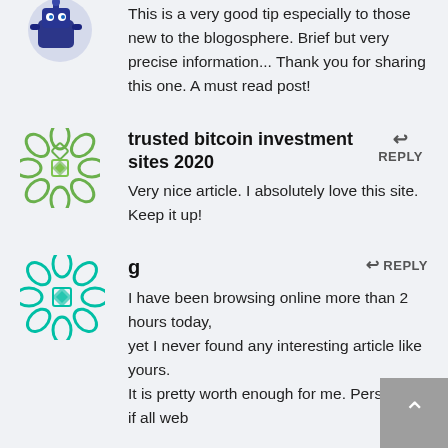This is a very good tip especially to those new to the blogosphere. Brief but very precise information... Thank you for sharing this one. A must read post!
trusted bitcoin investment sites 2020
Very nice article. I absolutely love this site. Keep it up!
g
I have been browsing online more than 2 hours today, yet I never found any interesting article like yours. It is pretty worth enough for me. Personally, if all web